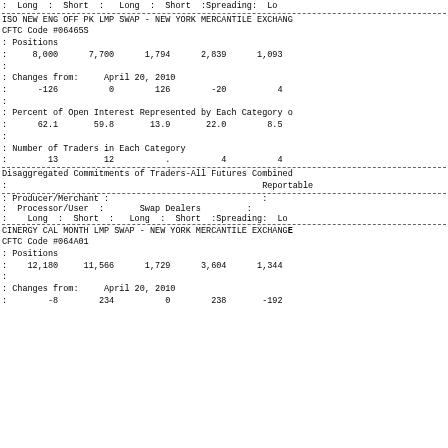:  Long  :  Short  :   Long  :  Short  :Spreading:  Lo
ISO NEW ENG OFF PK LMP SWAP - NEW YORK MERCANTILE EXCHANGE
CFTC Code #06465S
: Positions
:     8,000      7,700      1,794      2,839      1,093
:
: Changes from:     April 20, 2010
:      -126          0        126        -20          4
:
: Percent of Open Interest Represented by Each Category o
:      62.1       59.8       13.9       22.0        8.5
:
: Number of Traders in Each Category
:        13         12          .          4          4
Disaggregated Commitments of Traders-All Futures Combined
:                                                            Reportable
| : Producer/Merchant : |  |  | : | : Processor/User : | Swap Dealers | : | : Long : Short : | Long : | Short :Spreading: | Lo |
| --- | --- | --- | --- | --- | --- | --- | --- | --- | --- | --- |
CINERGY CAL MONTH LMP SWAP - NEW YORK MERCANTILE EXCHANGE
CFTC Code #064A01
: Positions
:    12,180     11,566      1,729      3,604      1,344
:
: Changes from:     April 20, 2010
:        -8        234          0        238       -192